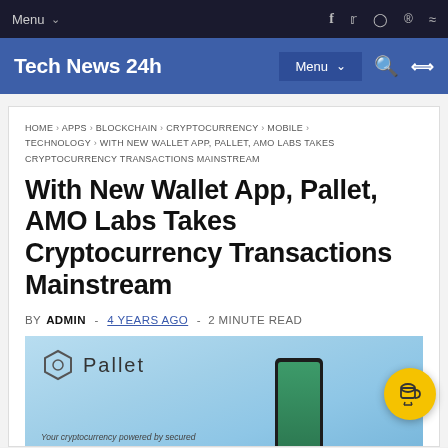Menu ∨  [social icons: f  twitter  instagram  pinterest  rss]
Tech News 24h   Menu ∨   [search icon]  [shuffle icon]
HOME > APPS > BLOCKCHAIN > CRYPTOCURRENCY > MOBILE > TECHNOLOGY > WITH NEW WALLET APP, PALLET, AMO LABS TAKES CRYPTOCURRENCY TRANSACTIONS MAINSTREAM
With New Wallet App, Pallet, AMO Labs Takes Cryptocurrency Transactions Mainstream
by Admin - 4 YEARS AGO - 2 MINUTE READ
[Figure (photo): Pallet app screenshot showing the Pallet logo and a smartphone with green screen, text reads 'Your cryptocurrency powered by secured']